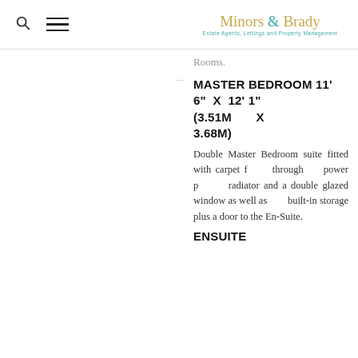Minors & Brady — Estate Agents, Lettings and Property Management
Rooms.
MASTER BEDROOM 11' 6" x 12' 1" (3.51m x 3.68m)
Double Master Bedroom suite fitted with carpet throughout, power points, radiator and a double glazed window as well as built-in storage plus a door to the En-Suite.
ENSUITE